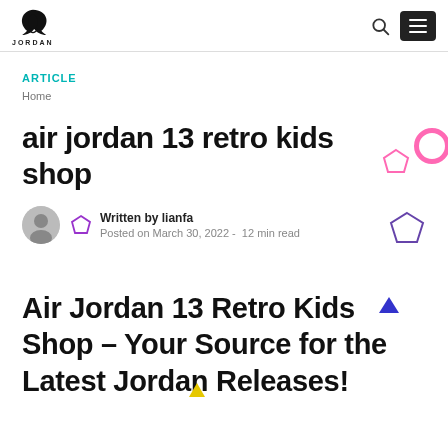JORDAN logo, search icon, menu button
ARTICLE
Home
air jordan 13 retro kids shop
Written by lianfa  Posted on March 30, 2022 -  12 min read
Air Jordan 13 Retro Kids Shop – Your Source for the Latest Jordan Releases!